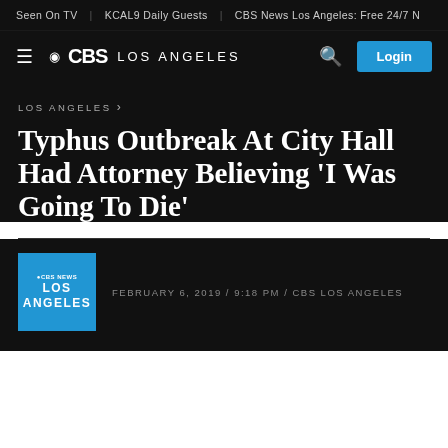Seen On TV | KCAL9 Daily Guests | CBS News Los Angeles: Free 24/7 N
[Figure (logo): CBS Los Angeles navigation bar with hamburger menu, CBS eye logo, search icon, and Login button]
LOS ANGELES ›
Typhus Outbreak At City Hall Had Attorney Believing 'I Was Going To Die'
FEBRUARY 6, 2019 / 9:18 PM / CBS LOS ANGELES